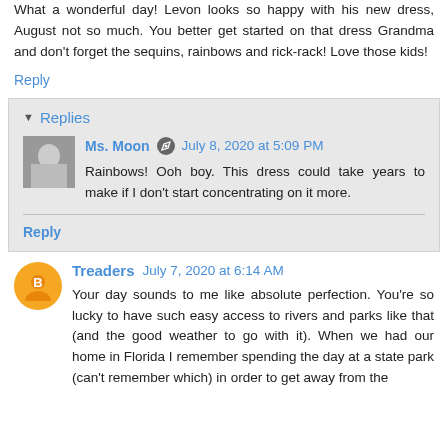What a wonderful day! Levon looks so happy with his new dress, August not so much. You better get started on that dress Grandma and don't forget the sequins, rainbows and rick-rack! Love those kids!
Reply
Replies
Ms. Moon July 8, 2020 at 5:09 PM
Rainbows! Ooh boy. This dress could take years to make if I don't start concentrating on it more.
Reply
Treaders July 7, 2020 at 6:14 AM
Your day sounds to me like absolute perfection. You're so lucky to have such easy access to rivers and parks like that (and the good weather to go with it). When we had our home in Florida I remember spending the day at a state park (can't remember which) in order to get away from the